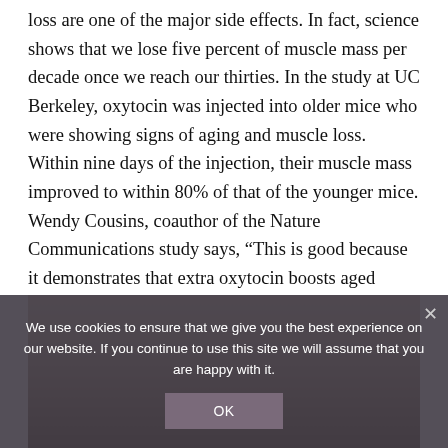loss are one of the major side effects. In fact, science shows that we lose five percent of muscle mass per decade once we reach our thirties. In the study at UC Berkeley, oxytocin was injected into older mice who were showing signs of aging and muscle loss. Within nine days of the injection, their muscle mass improved to within 80% of that of the younger mice. Wendy Cousins, coauthor of the Nature Communications study says, “This is good because it demonstrates that extra oxytocin boosts aged tissue stem cells without making muscle stem cells divide uncontrollably.”
[Figure (photo): Partially visible photo of an elderly person or animal, darkened by cookie consent overlay]
We use cookies to ensure that we give you the best experience on our website. If you continue to use this site we will assume that you are happy with it.
OK